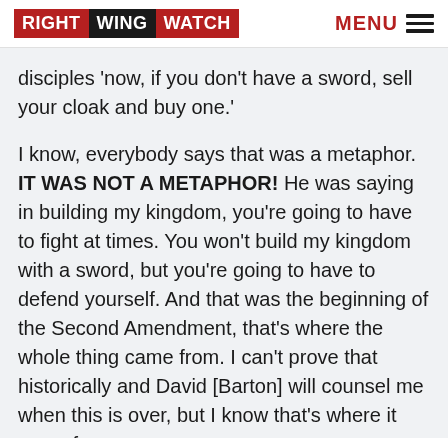RIGHT WING WATCH | MENU
disciples ‘now, if you don’t have a sword, sell your cloak and buy one.’
I know, everybody says that was a metaphor. IT WAS NOT A METAPHOR! He was saying in building my kingdom, you’re going to have to fight at times. You won’t build my kingdom with a sword, but you’re going to have to defend yourself. And that was the beginning of the Second Amendment, that’s where the whole thing came from. I can’t prove that historically and David [Barton] will counsel me when this is over, but I know that’s where it came from.